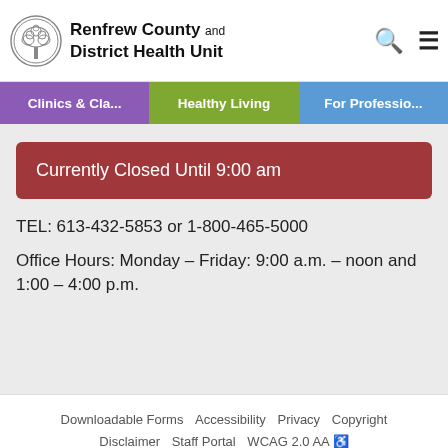Renfrew County and District Health Unit
Clinics & Cla... | Healthy Living | For Professio...
Currently Closed Until 9:00 am
TEL: 613-432-5853 or 1-800-465-5000
Office Hours: Monday – Friday: 9:00 a.m. – noon and 1:00 – 4:00 p.m.
Downloadable Forms  Accessibility  Privacy  Copyright  Disclaimer  Staff Portal  WCAG 2.0 AA ♿
© 2022, Renfrew County and District Health Unit. Website by floating-point